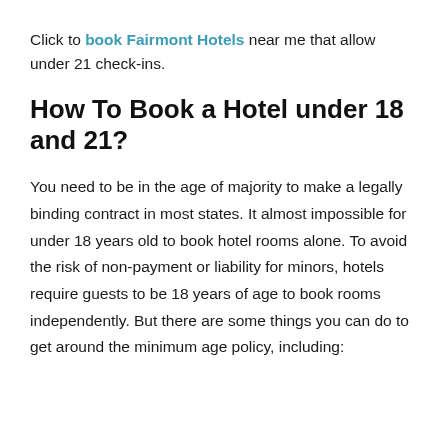Click to book Fairmont Hotels near me that allow under 21 check-ins.
How To Book a Hotel under 18 and 21?
You need to be in the age of majority to make a legally binding contract in most states. It almost impossible for under 18 years old to book hotel rooms alone. To avoid the risk of non-payment or liability for minors, hotels require guests to be 18 years of age to book rooms independently. But there are some things you can do to get around the minimum age policy, including: